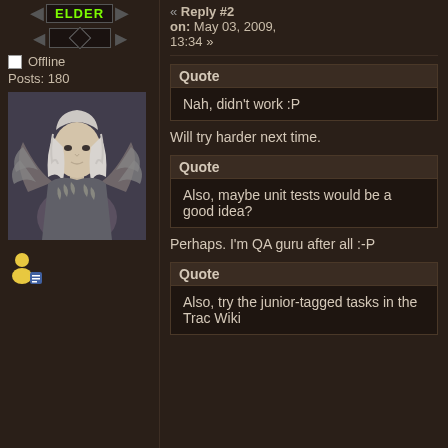ELDER
Offline
Posts: 180
[Figure (illustration): Avatar image of a fantasy character with white/silver hair and wings, dark background]
« Reply #2
on: May 03, 2009, 13:34 »
Quote
Nah, didn't work :P
Will try harder next time.
Quote
Also, maybe unit tests would be a good idea?
Perhaps. I'm QA guru after all :-P
Quote
Also, try the junior-tagged tasks in the Trac Wiki